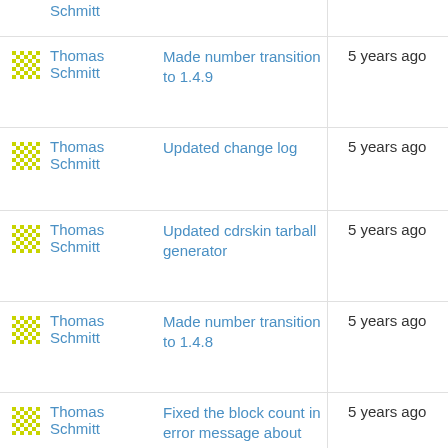Thomas Schmitt — (partial, top cut off) — 5 years ago
Thomas Schmitt — Made number transition to 1.4.9 — 5 years ago
Thomas Schmitt — Updated change log — 5 years ago
Thomas Schmitt — Updated cdrskin tarball generator — 5 years ago
Thomas Schmitt — Made number transition to 1.4.8 — 5 years ago
Thomas Schmitt — Fixed the block count in error message about read attempt after medium end — 5 years ago
Thomas Schmitt — Reporting POW formatted BD-R as unusable — 6 years ago